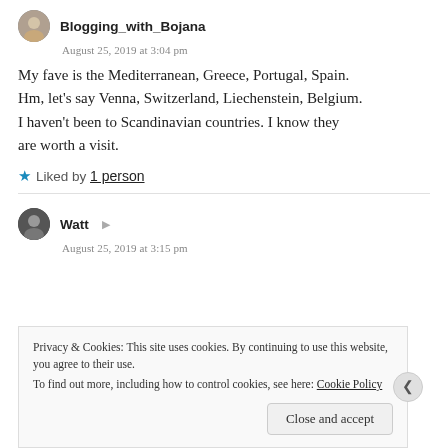Blogging_with_Bojana
August 25, 2019 at 3:04 pm
My fave is the Mediterranean, Greece, Portugal, Spain. Hm, let’s say Venna, Switzerland, Liechenstein, Belgium. I haven’t been to Scandinavian countries. I know they are worth a visit.
★ Liked by 1 person
Watt
August 25, 2019 at 3:15 pm
Privacy & Cookies: This site uses cookies. By continuing to use this website, you agree to their use.
To find out more, including how to control cookies, see here: Cookie Policy
Close and accept